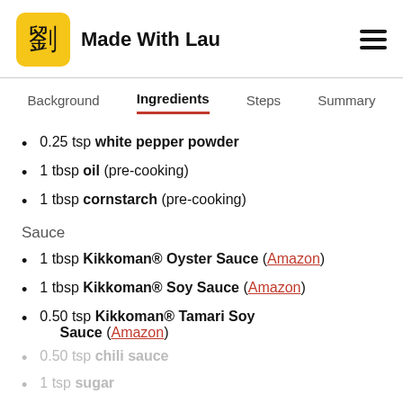Made With Lau
Ingredients
0.25 tsp white pepper powder
1 tbsp oil (pre-cooking)
1 tbsp cornstarch (pre-cooking)
Sauce
1 tbsp Kikkoman® Oyster Sauce (Amazon)
1 tbsp Kikkoman® Soy Sauce (Amazon)
0.50 tsp Kikkoman® Tamari Soy Sauce (Amazon)
0.50 tsp chili sauce
1 tsp sugar